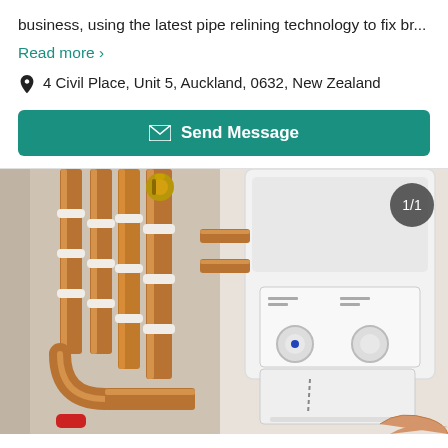business, using the latest pipe relining technology to fix br...
Read more >
4 Civil Place, Unit 5, Auckland, 0632, New Zealand
Send Message
[Figure (photo): Photo of copper plumbing pipes and a white boiler/heating unit mounted on a wall, with a person's hand visible at the bottom right installing or adjusting the unit. A red cap is visible on one of the lower pipes. Image counter badge '1/1' in top right corner.]